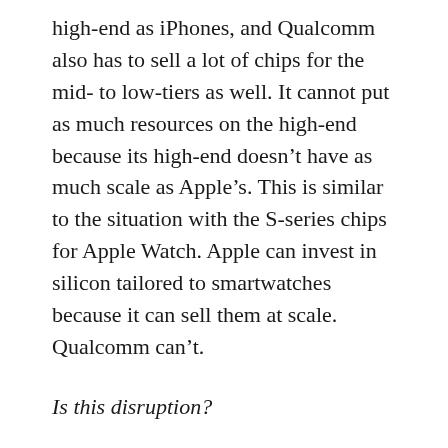high-end as iPhones, and Qualcomm also has to sell a lot of chips for the mid- to low-tiers as well. It cannot put as much resources on the high-end because its high-end doesn't have as much scale as Apple's. This is similar to the situation with the S-series chips for Apple Watch. Apple can invest in silicon tailored to smartwatches because it can sell them at scale. Qualcomm can't.
Is this disruption?
This is classical disruption. However, disruption is a long process and did not start with the M1